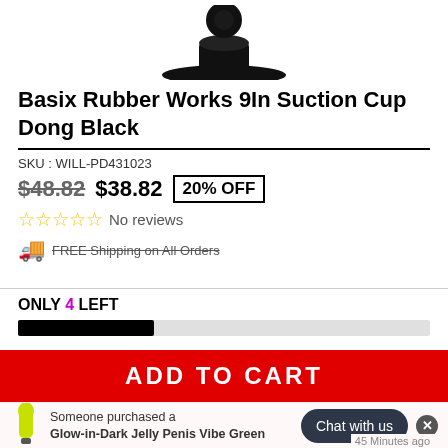[Figure (photo): Partial product image of a black suction cup dong base on white background]
Basix Rubber Works 9In Suction Cup Dong Black
SKU : WILL-PD431023
$48.82  $38.82  20% OFF
No reviews
FREE Shipping on All Orders
ONLY 4 LEFT
ADD TO CART
Someone purchased a Glow-in-Dark Jelly Penis Vibe Green
Chat with us
45 Minutes ago